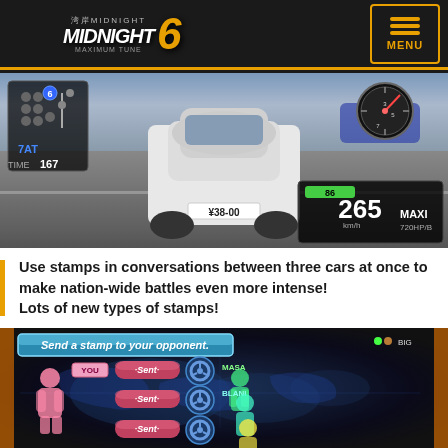Wangan Midnight Maximum Tune 6 — Menu
[Figure (screenshot): Racing game screenshot showing a white Porsche sports car on a highway at night, HUD displaying gear 6, 7AT, TIME 167, speed 265 km/h, MAXI 720HP/B, speedometer, and green speed bar showing 86]
Use stamps in conversations between three cars at once to make nation-wide battles even more intense! Lots of new types of stamps!
[Figure (screenshot): Game UI screenshot showing 'Send a stamp to your opponent.' dialog with world map background, three 'Sent' rows with steering wheel icons, player silhouettes in pink/teal/yellow, and player names MASA and BLANI]